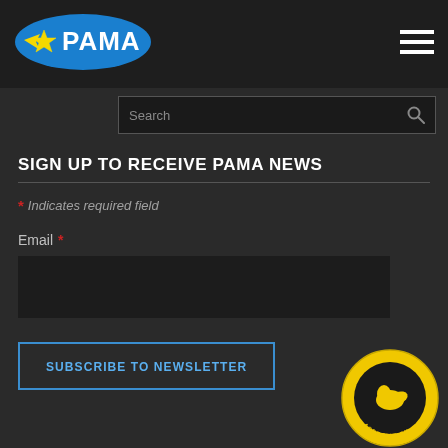[Figure (logo): PAMA logo — white text on blue oval with star, top navigation bar]
[Figure (screenshot): Hamburger menu icon (three horizontal white lines) in top-right corner]
[Figure (screenshot): Search bar with placeholder text 'Search' and magnifying glass icon]
SIGN UP TO RECEIVE PAMA NEWS
* Indicates required field
Email *
SUBSCRIBE TO NEWSLETTER
[Figure (logo): Professional Aviation Maintenance Association round badge logo, yellow and black, bottom-right corner]